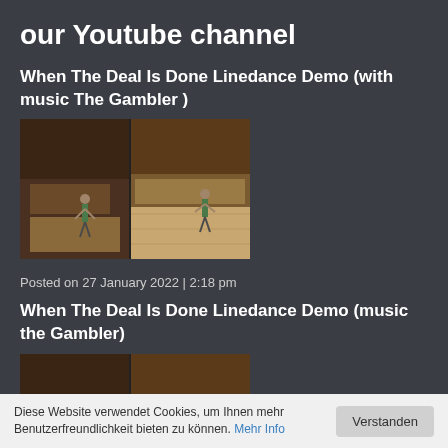our Youtube channel
When The Deal Is Done Linedance Demo (with music The Gambler )
[Figure (photo): Video thumbnail showing a person dancing in a hall with wooden floor, split into two panels.]
Posted on 27 January 2022 | 2:18 pm
When The Deal Is Done Linedance Demo (music the Gambler)
[Figure (photo): Video thumbnail showing a person dancing in a hall with wooden floor, split into two panels.]
Diese Website verwendet Cookies, um Ihnen mehr Benutzerfreundlichkeit bieten zu können. Mehr Info